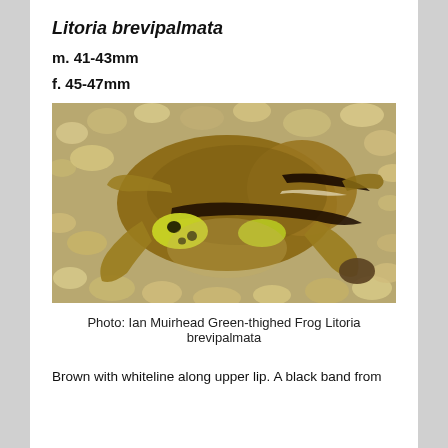Litoria brevipalmata
m. 41-43mm
f. 45-47mm
[Figure (photo): Photograph of a Green-thighed Frog (Litoria brevipalmata) resting on gravel/sand. The frog has a brown dorsum with yellow-green patches on the thighs marked with black spots, and a dark lateral stripe running along its side from behind the eye.]
Photo: Ian Muirhead Green-thighed Frog Litoria brevipalmata
Brown with whiteline along upper lip. A black band from